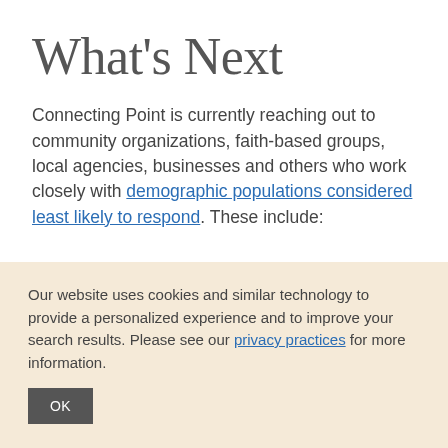What's Next
Connecting Point is currently reaching out to community organizations, faith-based groups, local agencies, businesses and others who work closely with demographic populations considered least likely to respond. These include:
Our website uses cookies and similar technology to provide a personalized experience and to improve your search results. Please see our privacy practices for more information.